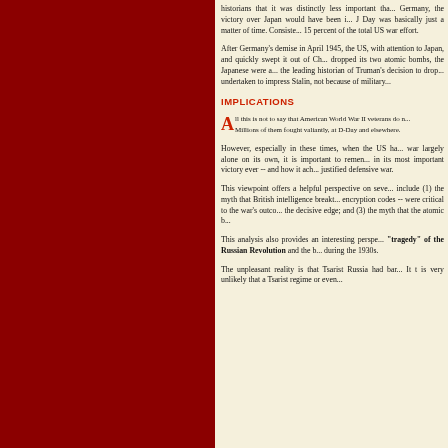historians that it was distinctly less important tha... Germany, the victory over Japan would have been i... J Day was basically just a matter of time. Consiste... 15 percent of the total US war effort.
After Germany's demise in April 1945, the US, with attention to Japan, and quickly swept it out of Ch... dropped its two atomic bombs, the Japanese were a... the leading historian of Truman's decision to drop... undertaken to impress Stalin, not because of military...
IMPLICATIONS
All this is not to say that American World War II veterans do n... Millions of them fought valiantly, at D-Day and elsewhere.
However, especially in these times, when the US ha... war largely alone on its own, it is important to remen... in its most important victory ever -- and how it ach... justified defensive war.
This viewpoint offers a helpful perspective on seve... include (1) the myth that British intelligence breakt... encryption codes -- were critical to the war's outco... the decisive edge; and (3) the myth that the atomic b...
This analysis also provides an interesting perspe... "tragedy" of the Russian Revolution and the b... during the 1930s.
The unpleasant reality is that Tsarist Russia had bar... It t is very unlikely that a Tsarist regime or even...